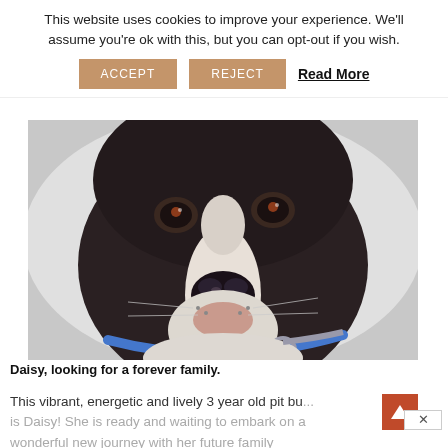This website uses cookies to improve your experience. We'll assume you're ok with this, but you can opt-out if you wish.
ACCEPT   REJECT   Read More
[Figure (photo): Close-up portrait of a dark-colored pit bull dog named Daisy wearing a blue collar, looking directly at the camera against a light background.]
Daisy, looking for a forever family.
This vibrant, energetic and lively 3 year old pit bu is Daisy! She is ready and waiting to embark on a wonderful new journey with her future family